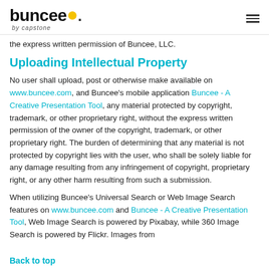buncee. by capstone
the express written permission of Buncee, LLC.
Uploading Intellectual Property
No user shall upload, post or otherwise make available on www.buncee.com, and Buncee's mobile application Buncee - A Creative Presentation Tool, any material protected by copyright, trademark, or other proprietary right, without the express written permission of the owner of the copyright, trademark, or other proprietary right. The burden of determining that any material is not protected by copyright lies with the user, who shall be solely liable for any damage resulting from any infringement of copyright, proprietary right, or any other harm resulting from such a submission.
When utilizing Buncee's Universal Search or Web Image Search features on www.buncee.com and Buncee - A Creative Presentation Tool, Web Image Search is powered by Pixabay, while 360 Image Search is powered by Flickr. Images from
Back to top